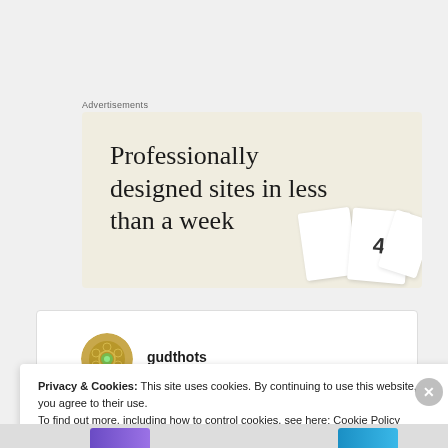Advertisements
[Figure (screenshot): Advertisement banner with beige/cream background showing text 'Professionally designed sites in less than a week' with decorative white card overlays in the bottom right corner.]
gudthots
Privacy & Cookies: This site uses cookies. By continuing to use this website, you agree to their use.
To find out more, including how to control cookies, see here: Cookie Policy
Close and accept